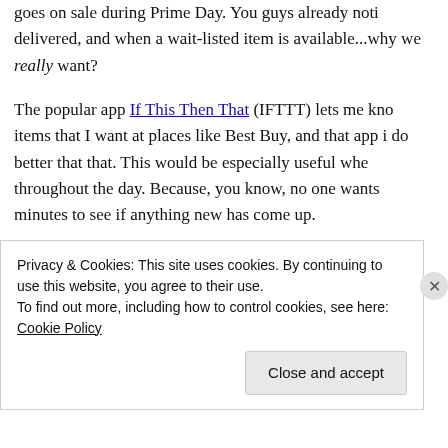goes on sale during Prime Day. You guys already noti delivered, and when a wait-listed item is available...why we really want?
The popular app If This Then That (IFTTT) lets me kno items that I want at places like Best Buy, and that app i do better that that. This would be especially useful whe throughout the day. Because, you know, no one wants minutes to see if anything new has come up.
Space deals out better
This was Prime Day, not the new Nintendo, iPhone or a
Privacy & Cookies: This site uses cookies. By continuing to use this website, you agree to their use.
To find out more, including how to control cookies, see here: Cookie Policy